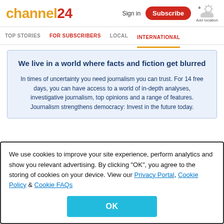channel24 | Sign in | Subscribe | Add location
TOP STORIES | FOR SUBSCRIBERS | LOCAL | INTERNATIONAL
We live in a world where facts and fiction get blurred
In times of uncertainty you need journalism you can trust. For 14 free days, you can have access to a world of in-depth analyses, investigative journalism, top opinions and a range of features. Journalism strengthens democracy: Invest in the future today.
We use cookies to improve your site experience, perform analytics and show you relevant advertising. By clicking "OK", you agree to the storing of cookies on your device. View our Privacy Portal, Cookie Policy & Cookie FAQs
OK